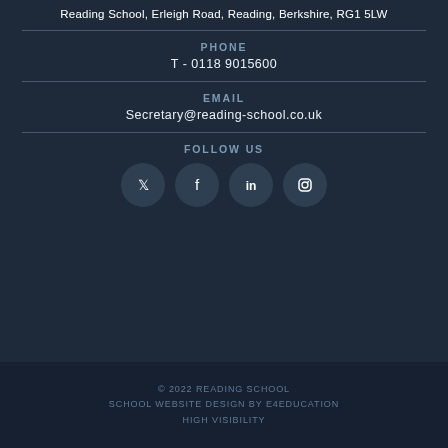Reading School, Erleigh Road, Reading, Berkshire, RG1 5LW
PHONE
T - 0118 9015600
EMAIL
Secretary@reading-school.co.uk
FOLLOW US
[Figure (infographic): Four social media icons in circles: Twitter, Facebook, LinkedIn, Instagram]
© 2022 READING SCHOOL
SCHOOL WEBSITE DESIGN BY E4EDUCATION
HIGH VISIBILITY